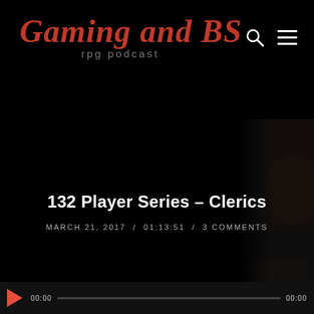Gaming and BS rpg podcast
132 Player Series – Clerics
MARCH 21, 2017  /  01:13:51  /  3 COMMENTS
[Figure (screenshot): Audio player bar at bottom with play button, 00:00 start time, progress bar, and end time indicator]
[Figure (photo): Partial dark photo of a person visible on the right side of the page]